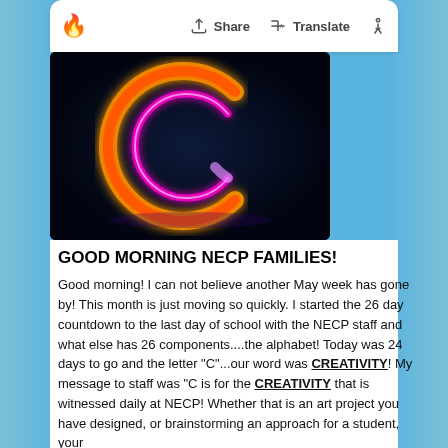[Figure (screenshot): Mobile app toolbar with fire emoji, Share, Translate, and accessibility icons]
[Figure (photo): Neon glowing letter C on dark background, with orange and red outer glow and pink/magenta inner outline]
GOOD MORNING NECP FAMILIES!
Good morning! I can not believe another May week has gone by! This month is just moving so quickly. I started the 26 day countdown to the last day of school with the NECP staff and what else has 26 components....the alphabet! Today was 24 days to go and the letter "C"...our word was CREATIVITY! My message to staff was "C is for the CREATIVITY that is witnessed daily at NECP! Whether that is an art project you have designed, or brainstorming an approach for a student, your